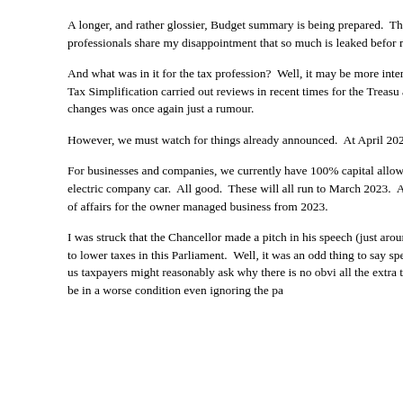A longer, and rather glossier, Budget summary is being prepared.  This will a hope.  However, as watched Mr Sunak deliver the Budget I did reflect on how Many tax professionals share my disappointment that so much is leaked befor much more fun when you don't know what is in it.
And what was in it for the tax profession?  Well, it may be more interesting to major change to Capital Gains Tax.  There was no major change to Inheritanc Office of Tax Simplification carried out reviews in recent times for the Treasu appear to have been tossed in the bin.  So, for most of us, life is unchanged. pension rule changes was once again just a rumour.
However, we must watch for things already announced.  At April 2022 the ra alongside the 1.25% social care levy – an increase in Employer's and Emplo
For businesses and companies, we currently have 100% capital allowances fo March 2023), 130% allowances by way of a super deduction for some things buy an electric company car.  All good.  These will all run to March 2023.  A 2023 these all seem to end, with a 25% corporation tax rate too.  This, alongs for a painful state of affairs for the owner managed business from 2023.
I was struck that the Chancellor made a pitch in his speech (just around 13.30 explaining he believed the Government and taxpayer should not be the soluti he wanted to lower taxes in this Parliament.  Well, it was an odd thing to say spend spend!  And, I was struck that if 50% of GDP is now state generated a time since the 1950s, us taxpayers might reasonably ask why there is no obvi all the extra taxes being paid.  It seems to me that we put more and more of G education and health are said to be in a worse condition even ignoring the pa